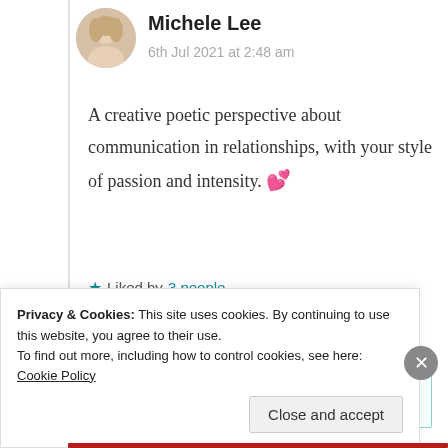Michele Lee
6th Jul 2021 at 2:48 am
A creative poetic perspective about communication in relationships, with your style of passion and intensity. 💕
★ Liked by 3 people
Log in to Reply
Privacy & Cookies: This site uses cookies. By continuing to use this website, you agree to their use.
To find out more, including how to control cookies, see here: Cookie Policy
Close and accept